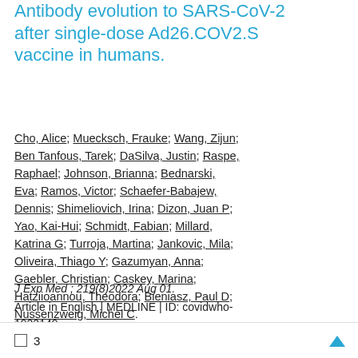Antibody evolution to SARS-CoV-2 after single-dose Ad26.COV2.S vaccine in humans.
Cho, Alice; Muecksch, Frauke; Wang, Zijun; Ben Tanfous, Tarek; DaSilva, Justin; Raspe, Raphael; Johnson, Brianna; Bednarski, Eva; Ramos, Victor; Schaefer-Babajew, Dennis; Shimeliovich, Irina; Dizon, Juan P; Yao, Kai-Hui; Schmidt, Fabian; Millard, Katrina G; Turroja, Martina; Jankovic, Mila; Oliveira, Thiago Y; Gazumyan, Anna; Gaebler, Christian; Caskey, Marina; Hatziioannou, Theodora; Bieniasz, Paul D; Nussenzweig, Michel C.
J Exp Med ; 219(8)2022 Aug 01.
Article in English | MEDLINE | ID: covidwho-1922149
3